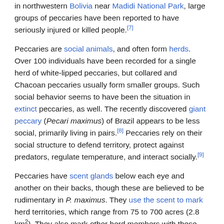in northwestern Bolivia near Madidi National Park, large groups of peccaries have been reported to have seriously injured or killed people.[7]
Peccaries are social animals, and often form herds. Over 100 individuals have been recorded for a single herd of white-lipped peccaries, but collared and Chacoan peccaries usually form smaller groups. Such social behavior seems to have been the situation in extinct peccaries, as well. The recently discovered giant peccary (Pecari maximus) of Brazil appears to be less social, primarily living in pairs.[8] Peccaries rely on their social structure to defend territory, protect against predators, regulate temperature, and interact socially.[9]
Peccaries have scent glands below each eye and another on their backs, though these are believed to be rudimentary in P. maximus. They use the scent to mark herd territories, which range from 75 to 700 acres (2.8 km2). They also mark other herd members with these scent glands by rubbing one against another. The pungent odor allows peccaries to recognize other members of their herd, despite their myopic vision. The odor is strong enough to be picked up by humans, which earns the peccary the nickname of "skunk